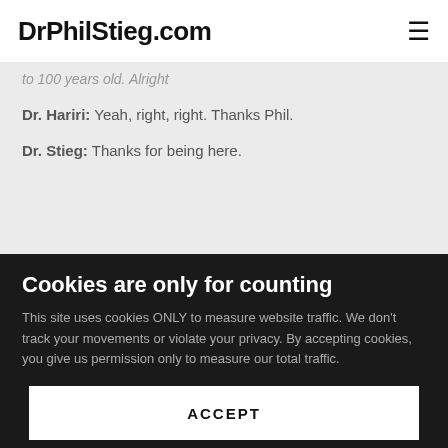DrPhilStieg.com
to 100 years old. Alright
Dr. Hariri: Yeah, right, right. Thanks Phil.
Dr. Stieg: Thanks for being here.
Cookies are only for counting
This site uses cookies ONLY to measure website traffic. We don't track your movements or violate your privacy. By accepting cookies, you give us permission only to measure our total traffic.
ACCEPT